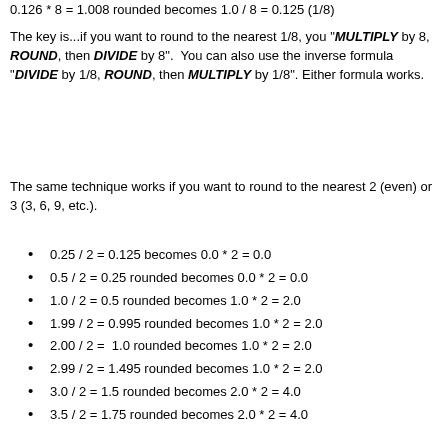0.126 * 8 = 1.008 rounded becomes 1.0 / 8 = 0.125 (1/8)
The key is...if you want to round to the nearest 1/8, you "MULTIPLY by 8, ROUND, then DIVIDE by 8". You can also use the inverse formula "DIVIDE by 1/8, ROUND, then MULTIPLY by 1/8". Either formula works.
The same technique works if you want to round to the nearest 2 (even) or 3 (3, 6, 9, etc.).
0.25 / 2 = 0.125 becomes 0.0 * 2 = 0.0
0.5 / 2 = 0.25 rounded becomes 0.0 * 2 = 0.0
1.0 / 2 = 0.5 rounded becomes 1.0 * 2 = 2.0
1.99 / 2 = 0.995 rounded becomes 1.0 * 2 = 2.0
2.00 / 2 =  1.0 rounded becomes 1.0 * 2 = 2.0
2.99 / 2 = 1.495 rounded becomes 1.0 * 2 = 2.0
3.0 / 2 = 1.5 rounded becomes 2.0 * 2 = 4.0
3.5 / 2 = 1.75 rounded becomes 2.0 * 2 = 4.0